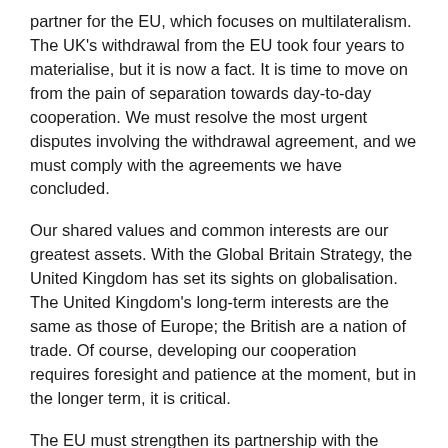partner for the EU, which focuses on multilateralism. The UK's withdrawal from the EU took four years to materialise, but it is now a fact. It is time to move on from the pain of separation towards day-to-day cooperation. We must resolve the most urgent disputes involving the withdrawal agreement, and we must comply with the agreements we have concluded.
Our shared values and common interests are our greatest assets. With the Global Britain Strategy, the United Kingdom has set its sights on globalisation. The United Kingdom's long-term interests are the same as those of Europe; the British are a nation of trade. Of course, developing our cooperation requires foresight and patience at the moment, but in the longer term, it is critical.
The EU must strengthen its partnership with the United Kingdom. We must face China together, and together we must encourage the United States to formulate a balanced China policy for the transatlantic community.